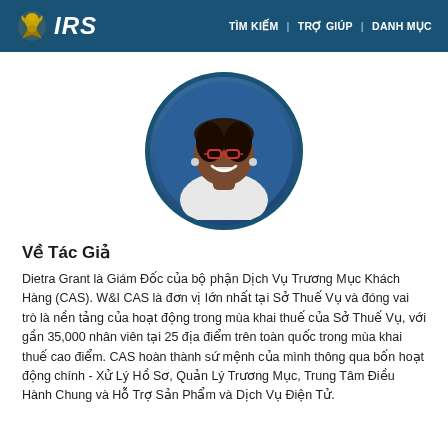IRS | TÌM KIẾM | TRỢ GIÚP | DANH MỤC
[Figure (photo): Circular portrait photo of Dietra Grant, a woman with glasses and short dark hair, smiling, against a blue background]
Về Tác Giả
Dietra Grant là Giám Đốc của bộ phận Dịch Vụ Trương Mục Khách Hàng (CAS). W&I CAS là đơn vị lớn nhất tại Sở Thuế Vụ và đóng vai trò là nền tảng của hoạt động trong mùa khai thuế của Sở Thuế Vụ, với gần 35,000 nhân viên tại 25 địa điểm trên toàn quốc trong mùa khai thuế cao điểm. CAS hoàn thành sứ mệnh của mình thông qua bốn hoạt động chính - Xử Lý Hồ Sơ, Quản Lý Trương Mục, Trung Tâm Điều Hành Chung và Hỗ Trợ Sản Phẩm và Dịch Vụ Điện Tử.